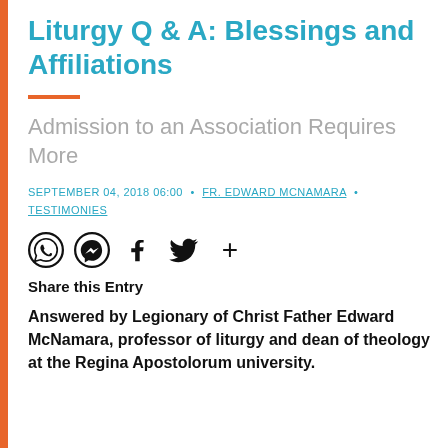Liturgy Q & A: Blessings and Affiliations
Admission to an Association Requires More
SEPTEMBER 04, 2018 06:00 · FR. EDWARD MCNAMARA · TESTIMONIES
[Figure (other): Social media sharing icons: WhatsApp, Messenger, Facebook, Twitter, plus sign]
Share this Entry
Answered by Legionary of Christ Father Edward McNamara, professor of liturgy and dean of theology at the Regina Apostolorum university.